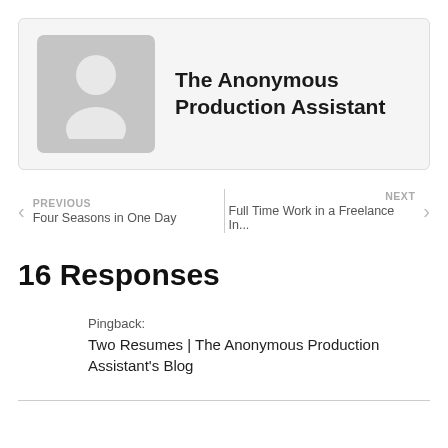[Figure (illustration): Anonymous user avatar placeholder with grey background showing silhouette of a person]
The Anonymous Production Assistant
PREVIOUS
Four Seasons in One Day
NEXT
Full Time Work in a Freelance In...
16 Responses
Pingback:
Two Resumes | The Anonymous Production Assistant's Blog